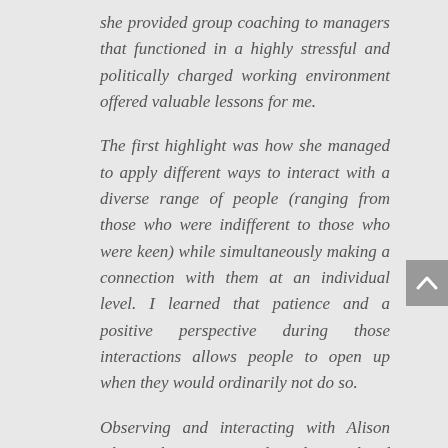she provided group coaching to managers that functioned in a highly stressful and politically charged working environment offered valuable lessons for me.
The first highlight was how she managed to apply different ways to interact with a diverse range of people (ranging from those who were indifferent to those who were keen) while simultaneously making a connection with them at an individual level. I learned that patience and a positive perspective during those interactions allows people to open up when they would ordinarily not do so.
Observing and interacting with Alison where she encouraged and stimulated active reflection, not only to reflect on